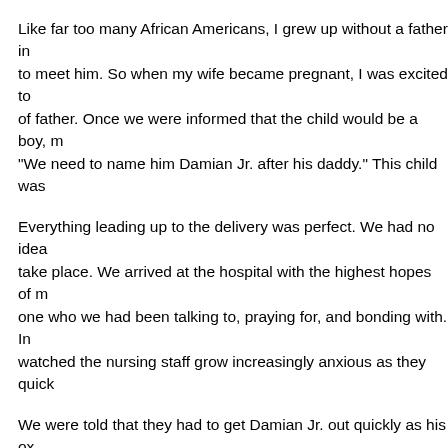Like far too many African Americans, I grew up without a father in to meet him. So when my wife became pregnant, I was excited to of father. Once we were informed that the child would be a boy, m "We need to name him Damian Jr. after his daddy." This child was
Everything leading up to the delivery was perfect. We had no idea take place. We arrived at the hospital with the highest hopes of m one who we had been talking to, praying for, and bonding with. In watched the nursing staff grow increasingly anxious as they quick
We were told that they had to get Damian Jr. out quickly as his ox By the time I was in the surgery room, my wife was already cut op our son out. He was blue, and that is hard for a black kid! I watche resuscitated him. This lasted about a minute, but it seemed like h eyes as they rolled him passed us, but it would be some time befo again.
The next morning we discovered the harsh reality. Damian Jr. had was not given much hope for survival. As a pastor, I am supposed